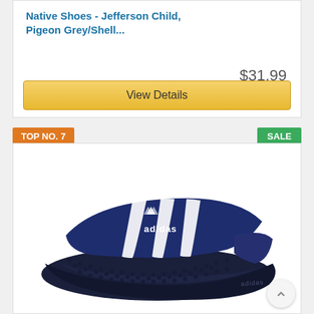Native Shoes - Jefferson Child, Pigeon Grey/Shell...
$31.99
View Details
TOP NO. 7
SALE
[Figure (photo): Navy blue Adidas slide sandal with white three-stripe strap and Adidas logo, massaging footbed texture visible]